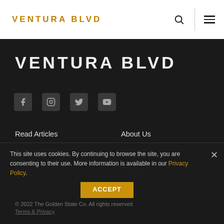VENTURA BLVD
VENTURA BLVD
[Figure (infographic): Social media icons row: Facebook, Instagram, Twitter, YouTube]
Read Articles
Original Series
Profiles
About Us
Advertise
Calendar
This site uses cookies. By continuing to browse the site, you are consenting to their use. More information is available in our Privacy Policy.
ACCEPT
© 2022 The Golden State Co. All rights reserved
Terms & Privacy